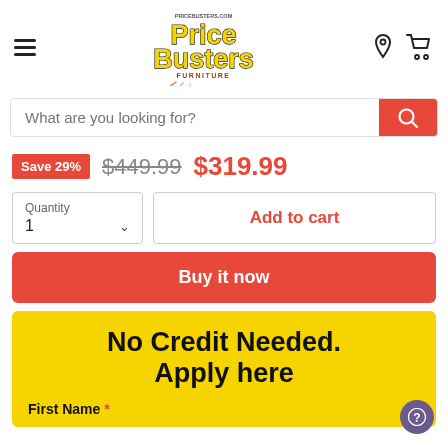[Figure (logo): Price Busters Furniture logo with yellow text and pricebusters.com URL]
What are you looking for?
Save 29% $449.99 $319.99
Quantity 1
Add to cart
Buy it now
No Credit Needed. Apply here
First Name *